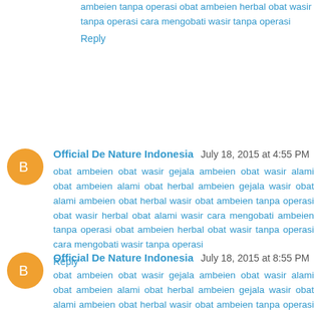ambeien tanpa operasi obat ambeien herbal obat wasir tanpa operasi cara mengobati wasir tanpa operasi
Reply
Official De Nature Indonesia July 18, 2015 at 4:55 PM
obat ambeien obat wasir gejala ambeien obat wasir alami obat ambeien alami obat herbal ambeien gejala wasir obat alami ambeien obat herbal wasir obat ambeien tanpa operasi obat wasir herbal obat alami wasir cara mengobati ambeien tanpa operasi obat ambeien herbal obat wasir tanpa operasi cara mengobati wasir tanpa operasi
Reply
Official De Nature Indonesia July 18, 2015 at 8:55 PM
obat ambeien obat wasir gejala ambeien obat wasir alami obat ambeien alami obat herbal ambeien gejala wasir obat alami ambeien obat herbal wasir obat ambeien tanpa operasi obat wasir herbal obat alami wasir cara mengobati